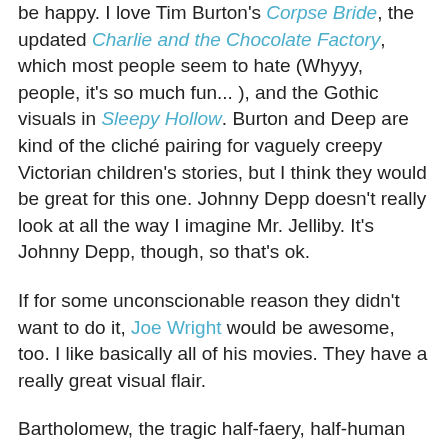be happy. I love Tim Burton's Corpse Bride, the updated Charlie and the Chocolate Factory, which most people seem to hate (Whyyy, people, it's so much fun... ), and the Gothic visuals in Sleepy Hollow. Burton and Deep are kind of the cliché pairing for vaguely creepy Victorian children's stories, but I think they would be great for this one. Johnny Depp doesn't really look at all the way I imagine Mr. Jelliby. It's Johnny Depp, though, so that's ok.
If for some unconscionable reason they didn't want to do it, Joe Wright would be awesome, too. I like basically all of his movies. They have a really great visual flair.
Bartholomew, the tragic half-faery, half-human who sets off on an adventure to solve the murders of other half-bloods (who are found floating in the rivers covered in red markings) could be played by Asa Butterfield. He might be a bit old now, but he was good in Martin Scorsese's H...